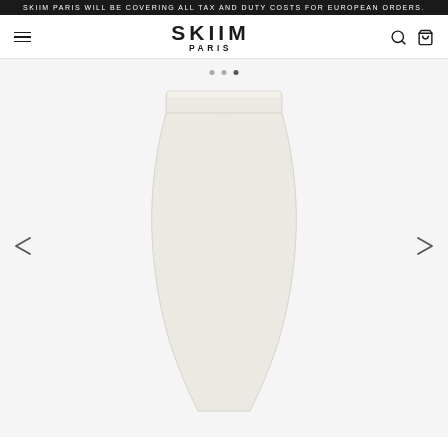SKIIM PARIS WILL BE COVERING ALL TAX AND DUTY COSTS FOR EUROPEAN ORDERS.
SKIIM PARIS
[Figure (photo): White cream-colored pencil skirt product photo on white/light grey background, shown from waist to hem. The skirt has a wide waistband and a fitted silhouette tapering to a narrow hem. Navigation arrows (left and right) flank the image, and carousel indicator dots appear at the top center.]